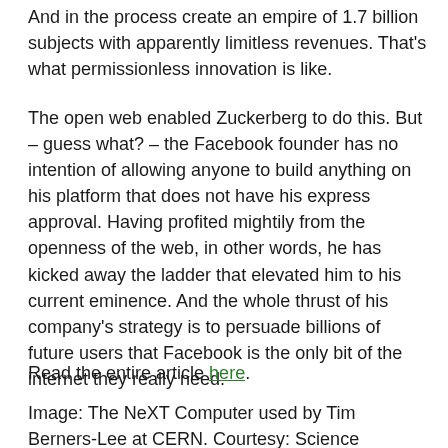And in the process create an empire of 1.7 billion subjects with apparently limitless revenues. That's what permissionless innovation is like.
The open web enabled Zuckerberg to do this. But – guess what? – the Facebook founder has no intention of allowing anyone to build anything on his platform that does not have his express approval. Having profited mightily from the openness of the web, in other words, he has kicked away the ladder that elevated him to his current eminence. And the whole thrust of his company's strategy is to persuade billions of future users that Facebook is the only bit of the internet they really need.
Read the entire article here.
Image: The NeXT Computer used by Tim Berners-Lee at CERN. Courtesy: Science Museum, London. GFDL CC-BY-SA.